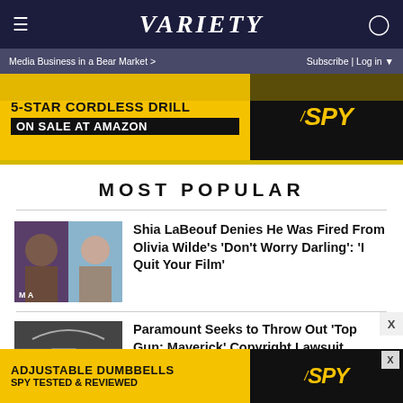VARIETY
Media Business in a Bear Market > Subscribe | Log in
[Figure (other): Advertisement banner: 5-STAR CORDLESS DRILL ON SALE AT AMAZON / SPY logo on black and yellow background]
MOST POPULAR
[Figure (photo): Thumbnail photo of Shia LaBeouf and Olivia Wilde side by side]
Shia LaBeouf Denies He Was Fired From Olivia Wilde's 'Don't Worry Darling': 'I Quit Your Film'
[Figure (photo): Thumbnail photo from Top Gun: Maverick]
Paramount Seeks to Throw Out 'Top Gun: Maverick' Copyright Lawsuit
[Figure (other): Advertisement banner: ADJUSTABLE DUMBBELLS SPY TESTED & REVIEWED / SPY logo on black and yellow background]